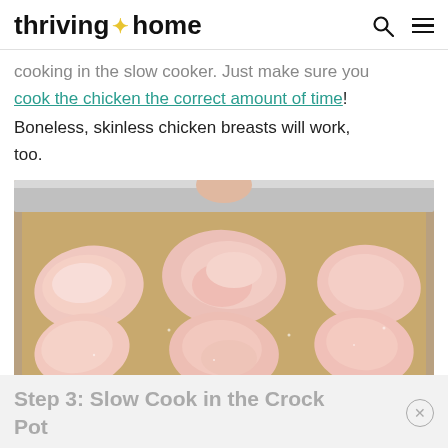thriving home
cooking in the slow cooker. Just make sure you cook the chicken the correct amount of time! Boneless, skinless chicken breasts will work, too.
[Figure (photo): Raw boneless skinless chicken thighs laid out on a parchment-lined baking sheet, six pieces visible in two rows]
Step 3: Slow Cook in the Crock Pot